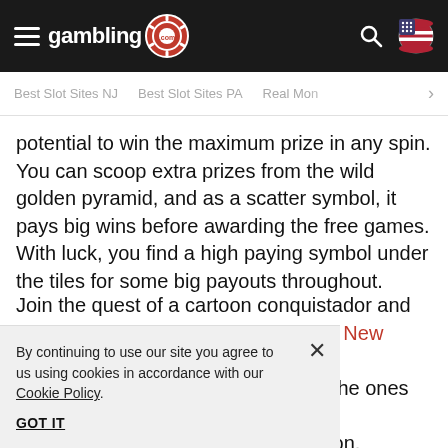gambling.com — navigation header with hamburger menu, logo, search icon, US flag
Best Slot Sites NJ | Best Slot Sites PA | Real Mo... >
potential to win the maximum prize in any spin. You can scoop extra prizes from the wild golden pyramid, and as a scatter symbol, it pays big wins before awarding the free games. With luck, you find a high paying symbol under the tiles for some big payouts throughout.
Join the quest of a cartoon conquistador and play the Gonzo's Gold slot at the top New Jersey online casinos or Pennsylvania online casinos. The ones featured at gambling.com all offer a welcome bonus deal to simplify the registration.
By continuing to use our site you agree to us using cookies in accordance with our Cookie Policy.
GOT IT